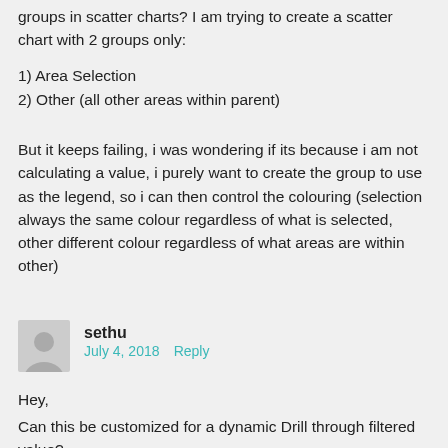groups in scatter charts? I am trying to create a scatter chart with 2 groups only:
1) Area Selection
2) Other (all other areas within parent)
But it keeps failing, i was wondering if its because i am not calculating a value, i purely want to create the group to use as the legend, so i can then control the colouring (selection always the same colour regardless of what is selected, other different colour regardless of what areas are within other)
sethu
July 4, 2018   Reply
Hey,
Can this be customized for a dynamic Drill through filtered value?
i tried AllSelected
however that returns the complete data set, any pointers would help.